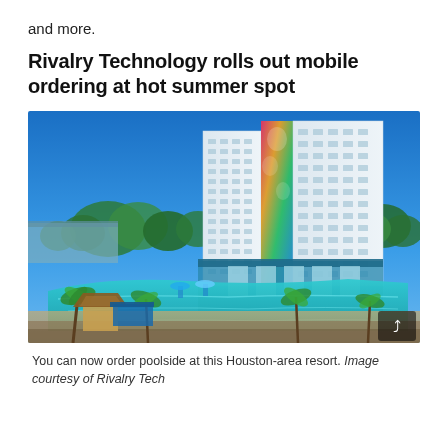and more.
Rivalry Technology rolls out mobile ordering at hot summer spot
[Figure (photo): Aerial view of a Houston-area resort showing a large outdoor pool with turquoise water, palm trees, beach chairs, tiki bar, and a tall white hotel tower with colorful mural art. Blue sky in background.]
You can now order poolside at this Houston-area resort. Image courtesy of Rivalry Tech